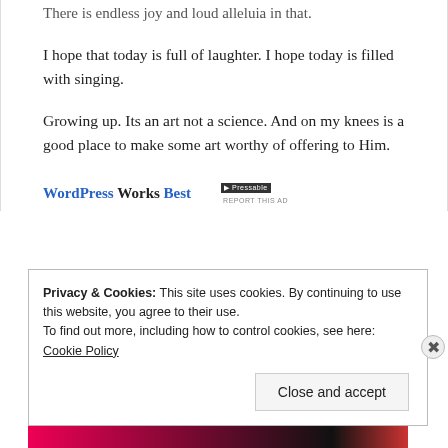There is endless joy and loud alleluia in that.
I hope that today is full of laughter. I hope today is filled with singing.
Growing up. Its an art not a science. And on my knees is a good place to make some art worthy of offering to Him.
[Figure (other): Advertisement banner: 'WordPress Works Best' with Pressable logo and 'REPORT THIS AD' text]
Privacy & Cookies: This site uses cookies. By continuing to use this website, you agree to their use.
To find out more, including how to control cookies, see here: Cookie Policy
Close and accept